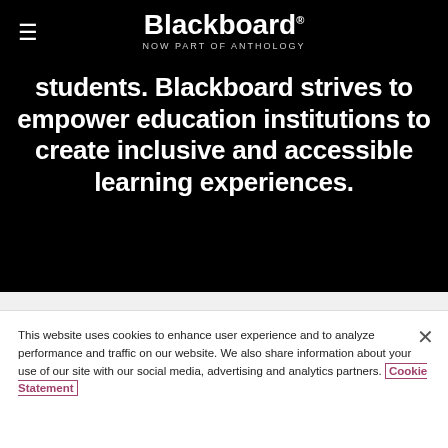Blackboard — NOW PART OF ANTHOLOGY
students. Blackboard strives to empower education institutions to create inclusive and accessible learning experiences.
This website uses cookies to enhance user experience and to analyze performance and traffic on our website. We also share information about your use of our site with our social media, advertising and analytics partners. Cookie Statement